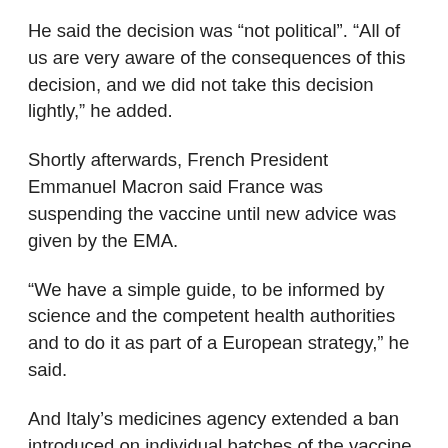He said the decision was “not political”. “All of us are very aware of the consequences of this decision, and we did not take this decision lightly,” he added.
Shortly afterwards, French President Emmanuel Macron said France was suspending the vaccine until new advice was given by the EMA.
“We have a simple guide, to be informed by science and the competent health authorities and to do it as part of a European strategy,” he said.
And Italy’s medicines agency extended a ban introduced on individual batches of the vaccine throughout the country, also pending the EMA decision.
Spanish Health Minister Carolina Darias said use of the